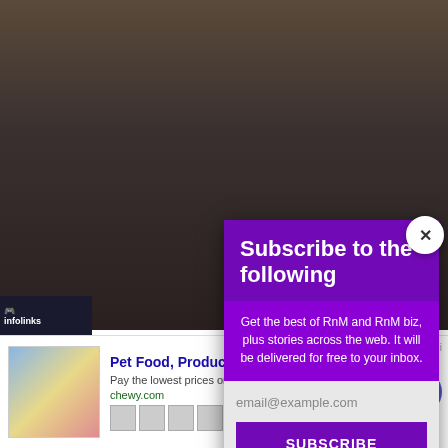[Figure (photo): Close-up photo of a man's face with beard and mustache, dark moody lighting]
Arko Pravo
I don't mind... day. I have ier sung... Phir Tumse aya,... half years
[Figure (screenshot): Subscribe to the following modal popup with purple background. Title: Subscribe to the following. Body: Get the best of RnM and RnM biz, plus stories across the web. It will be delivered for free to your inbox. Email input field and SUBSCRIBE button.]
[Figure (screenshot): Advertisement banner: Pet Food, Products, Supplies at Low Prices - Pay the lowest prices on pet supplies at Chewy.com, chewy.com]